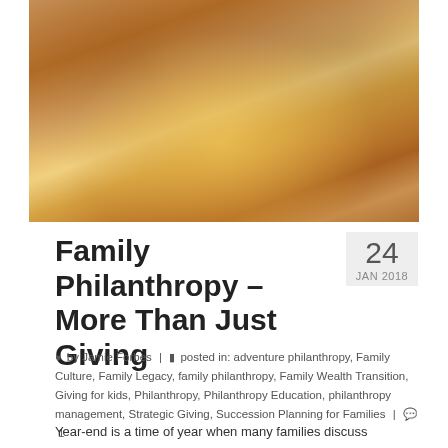[Figure (photo): People raising glasses in a toast over a dinner table with food dishes and a glowing red lantern centerpiece, warm amber lighting]
Family Philanthropy – More Than Just Giving
24 JAN 2018
by Jamie Forbes | posted in: adventure philanthropy, Family Culture, Family Legacy, family philanthropy, Family Wealth Transition, Giving for kids, Philanthropy, Philanthropy Education, philanthropy management, Strategic Giving, Succession Planning for Families | 1
Year-end is a time of year when many families discuss